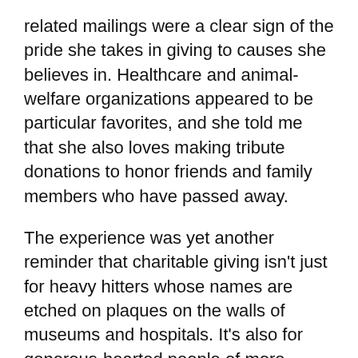related mailings were a clear sign of the pride she takes in giving to causes she believes in. Healthcare and animal-welfare organizations appeared to be particular favorites, and she told me that she also loves making tribute donations to honor friends and family members who have passed away.
The experience was yet another reminder that charitable giving isn't just for heavy hitters whose names are etched on plaques on the walls of museums and hospitals. It's also for generous-hearted people of more modest means who want to do their part to make the world a bit better. And I say keep it up. Numerous studies have corroborated the connection between giving and happiness. In a paper entitled "Prosocial Spending and Happiness," for example, researchers found that spending money on others helps elevate people's sense of happiness and well-being.